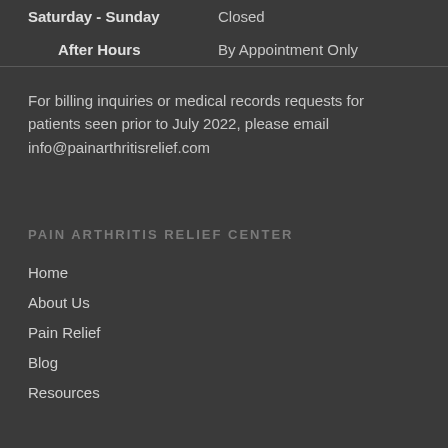| Saturday - Sunday | Closed |
| After Hours | By Appointment Only |
For billing inquiries or medical records requests for patients seen prior to July 2022, please email info@painarthritisrelief.com
PAIN ARTHRITIS RELIEF CENTER
Home
About Us
Pain Relief
Blog
Resources